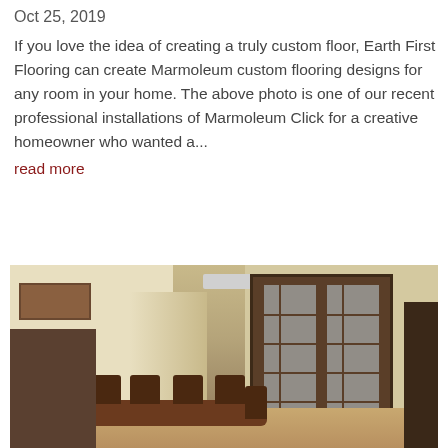Oct 25, 2019
If you love the idea of creating a truly custom floor, Earth First Flooring can create Marmoleum custom flooring designs for any room in your home. The above photo is one of our recent professional installations of Marmoleum Click for a creative homeowner who wanted a...
read more
[Figure (photo): Interior dining room photo showing a wooden dining table with chairs, a sideboard cabinet on the left, a staircase in the background, a door with glass panes on the right, a wall-mounted AC unit, and a light wood floor.]